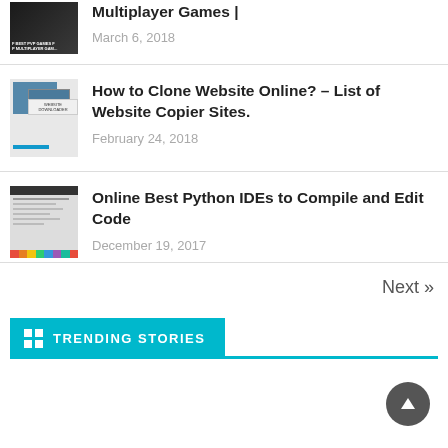[Figure (screenshot): Thumbnail image of PVP multiplayer games article with dark background and text overlay]
Multiplayer Games |
March 6, 2018
[Figure (screenshot): Thumbnail image showing website downloader/copier interface with blue screen mockup and progress bar]
How to Clone Website Online? – List of Website Copier Sites.
February 24, 2018
[Figure (screenshot): Thumbnail image of Python IDEs article showing code editor interface with colorful toolbar]
Online Best Python IDEs to Compile and Edit Code
December 19, 2017
Next »
TRENDING STORIES